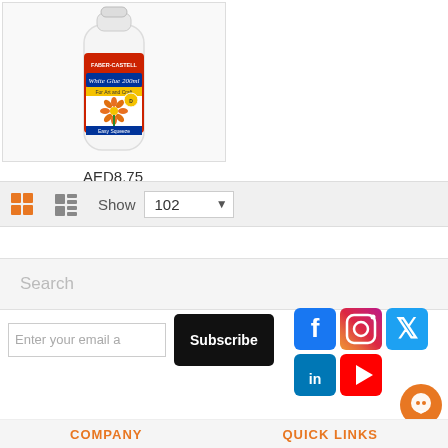[Figure (photo): Faber-Castell White Glue 200ml bottle with red label, for art and craft, easy squeeze, with flower illustration on label]
AED8.75
[Figure (other): Toolbar with grid view icon (orange), list view icon, Show 102 dropdown selector]
[Figure (other): Search input bar with placeholder text 'Search']
[Figure (other): Email subscription row with input placeholder 'Enter your email a' and Subscribe button]
[Figure (other): Social media icons: Facebook, Instagram, Twitter, LinkedIn, YouTube]
[Figure (other): Orange chat bubble/support icon in bottom right]
COMPANY
QUICK LINKS